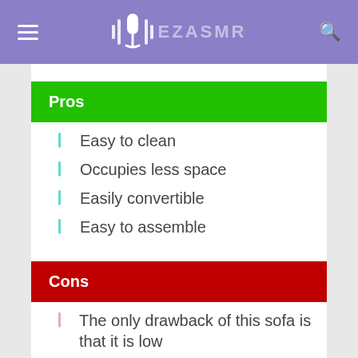EZASMR
Pros
Easy to clean
Occupies less space
Easily convertible
Easy to assemble
Cons
The only drawback of this sofa is that it is low